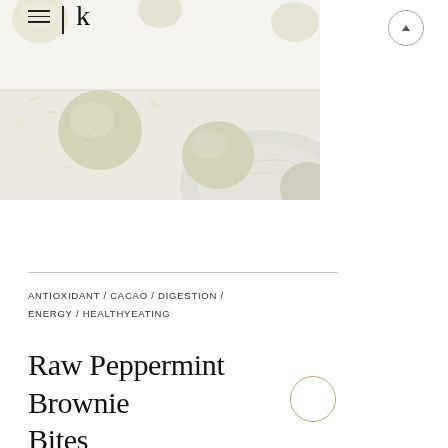≡ | K
[Figure (photo): Overhead close-up of pale yellow-green energy balls / raw brownie bites on a white surface, with shredded coconut or zest scattered around. A marble plate is partially visible in the lower right portion. Two-panel composition: upper panel lighter/whiter background, lower panel showing the balls more closely with the marble dish.]
ANTIOXIDANT / CACAO / DIGESTION / ENERGY / HEALTHYEATING
Raw Peppermint Brownie Bites